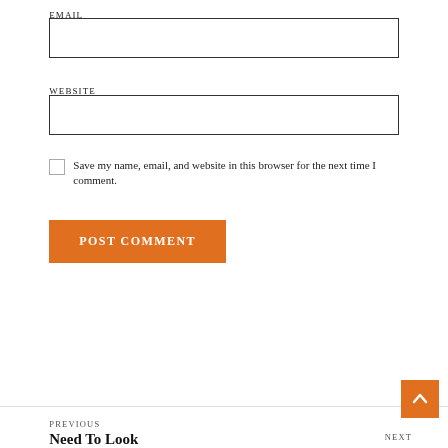EMAIL
(input box)
WEBSITE
(input box)
Save my name, email, and website in this browser for the next time I comment.
POST COMMENT
PREVIOUS
Need To Look
NEXT